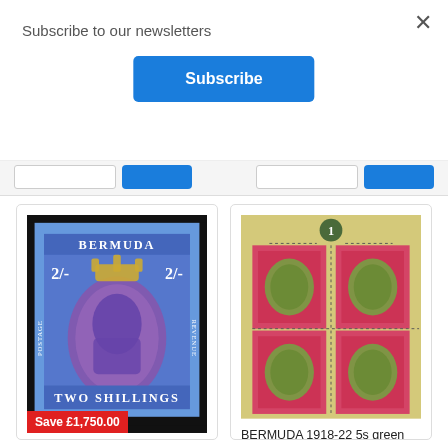Subscribe to our newsletters
Subscribe
×
[Figure (photo): Bermuda 1938-53 2s deep purple and ultramarine/grey-blue stamp (UNUSED) SG116bc with red Save £1,750.00 badge]
BERMUDA 1938-53 2s deep purple and ultramarine/grey-blue (UNUSED) SG116bc
[Figure (photo): Bermuda 1918-22 5s green and carmine-red/pale yellow block of four stamps (UNUSED) SG53d/da/db]
BERMUDA 1918-22 5s green and carmine-red/pale yellow (UNUSED), SG53d/da/db
£975.00
$1,147.22